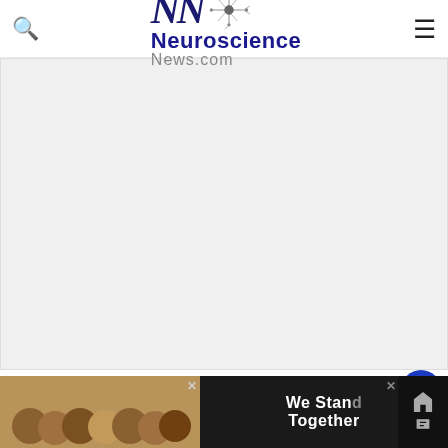Neuroscience News.com
[Figure (photo): Large white/blank image area placeholder below the header, representing an article image]
Funding: The research was funded by a Wellcome Trust Principal Research Fellowship to...
[Figure (photo): Advertisement banner at bottom showing group of people with text 'We Stand Together']